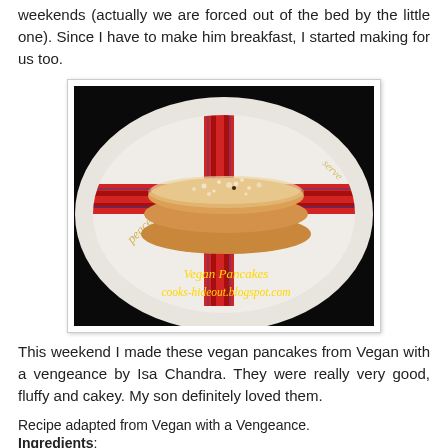weekends (actually we are forced out of the bed by the little one). Since I have to make him breakfast, I started making for us too.
[Figure (photo): A stack of vegan pancakes dusted with powdered sugar on a decorative white plate with red tartan ribbon pattern and the word 'peace' written in gold. Watermark text: 'Vegan Pancakes cooks-hideout.blogspot.com']
This weekend I made these vegan pancakes from Vegan with a vengeance by Isa Chandra. They were really very good, fluffy and cakey. My son definitely loved them.
Recipe adapted from Vegan with a Vengeance.
Ingredients: